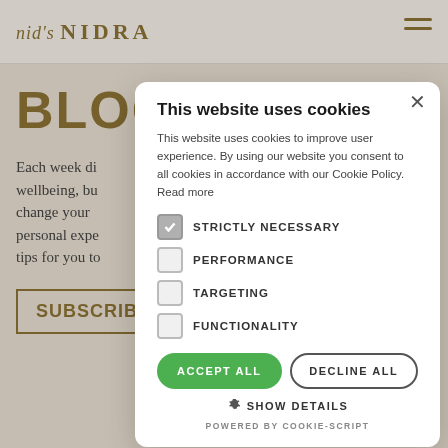[Figure (screenshot): Website background showing nid's NIDRA blog page with navigation bar, BLOG heading in gold, excerpt text, and SUBSCRIBE button]
This website uses cookies
This website uses cookies to improve user experience. By using our website you consent to all cookies in accordance with our Cookie Policy. Read more
STRICTLY NECESSARY (checked)
PERFORMANCE
TARGETING
FUNCTIONALITY
ACCEPT ALL
DECLINE ALL
SHOW DETAILS
POWERED BY COOKIE-SCRIPT